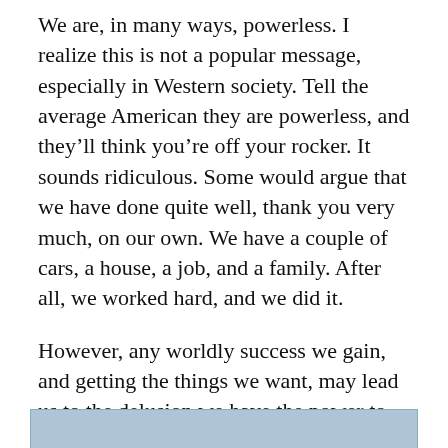We are, in many ways, powerless. I realize this is not a popular message, especially in Western society. Tell the average American they are powerless, and they'll think you're off your rocker. It sounds ridiculous. Some would argue that we have done quite well, thank you very much, on our own. We have a couple of cars, a house, a job, and a family. After all, we worked hard, and we did it.
However, any worldly success we gain, and getting the things we want, may lead us to the delusion we have the power to do whatever we want.
[Figure (photo): Partial image visible at the bottom of the page, showing a blue-grey toned photograph, cropped.]